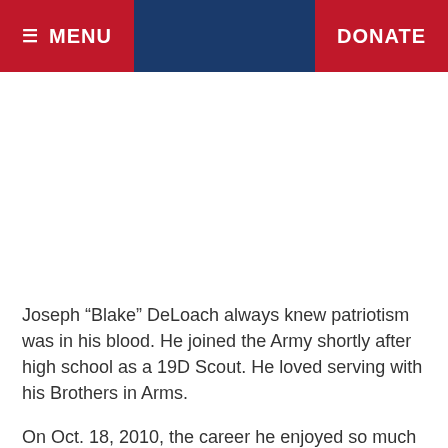≡ MENU    DONATE
Joseph “Blake” DeLoach always knew patriotism was in his blood. He joined the Army shortly after high school as a 19D Scout. He loved serving with his Brothers in Arms.
On Oct. 18, 2010, the career he enjoyed so much came to an abrupt end during his second deployment. While on a mission with the 1-32nd Cavalry, 101st Airborne Division, in Kunar Province, Afghanistan, a rocket propelled grenade